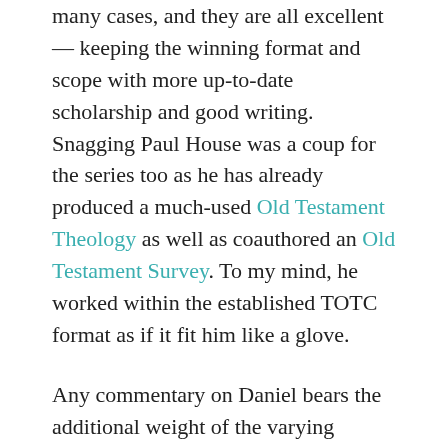many cases, and they are all excellent — keeping the winning format and scope with more up-to-date scholarship and good writing. Snagging Paul House was a coup for the series too as he has already produced a much-used Old Testament Theology as well as coauthored an Old Testament Survey. To my mind, he worked within the established TOTC format as if it fit him like a glove.
Any commentary on Daniel bears the additional weight of the varying prophetic outlook of the reader. While that's not an issue in many other books of the Bible, Daniel is second only to Revelation in that dynamic. Many will unfairly rate any commentary on these two books on this issue alone before they read the first paragraph. For the record, the TOTC series has always been amillennial. Though that is not my viewpoint, I've